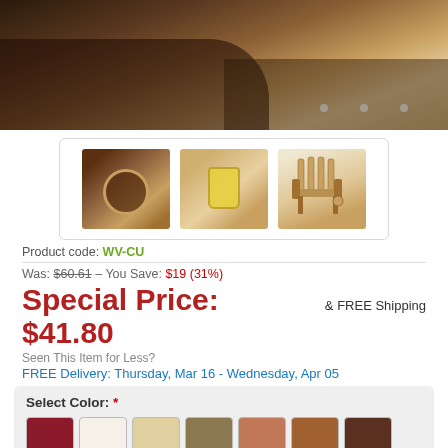[Figure (photo): Main product photo showing wooden Adirondack chair with cup holder, brown/tan tones, top portion visible]
[Figure (photo): Three thumbnail images of wooden Adirondack chair cup holder product: close-up of cup holder, cup holder with drink, full chair view]
Product code: WV-CU
Was: $60.61 – You Save: $19 (31%)
Special Price: $41.80 & FREE Shipping
Seen This Item for Less?
FREE Delivery: Thursday, Mar 16 - Wednesday, Apr 05
Select Color: *
[Figure (infographic): Color swatch grid showing approximately 16+ color options for the product including red/maroon, white, beige, tan, terracotta, brown, dark brown, dark teal, gray, purple, navy, blue, cyan, teal/turquoise, olive/green, yellow, orange]